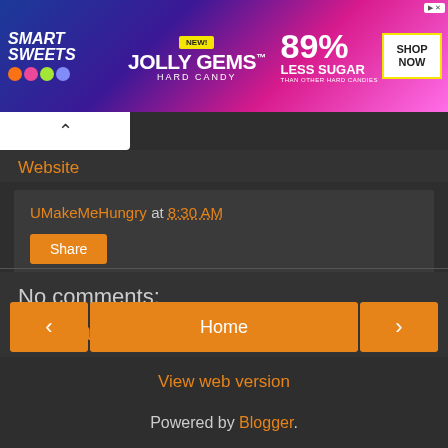[Figure (screenshot): Smart Sweets advertisement banner for Jolly Gems Hard Candy — 89% Less Sugar than other hard candies, with Shop Now button]
Website
UMakeMeHungry at 8:30 AM
Share
No comments:
Post a Comment
< Home >
View web version
Powered by Blogger.